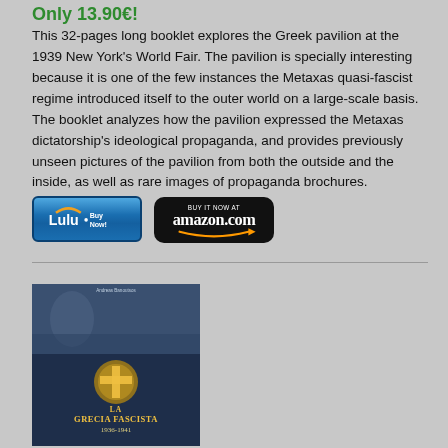Only 13.90€!
This 32-pages long booklet explores the Greek pavilion at the 1939 New York's World Fair. The pavilion is specially interesting because it is one of the few instances the Metaxas quasi-fascist regime introduced itself to the outer world on a large-scale basis. The booklet analyzes how the pavilion expressed the Metaxas dictatorship's ideological propaganda, and provides previously unseen pictures of the pavilion from both the outside and the inside, as well as rare images of propaganda brochures.
[Figure (other): Lulu Buy Now button (blue with orange arc logo)]
[Figure (other): Buy it now at amazon.com button (black with orange arrow)]
[Figure (other): Book cover of 'La Grecia Fascista 1936-1941' showing a dark blue collage with historical figures and a gold emblem with the title in gold text]